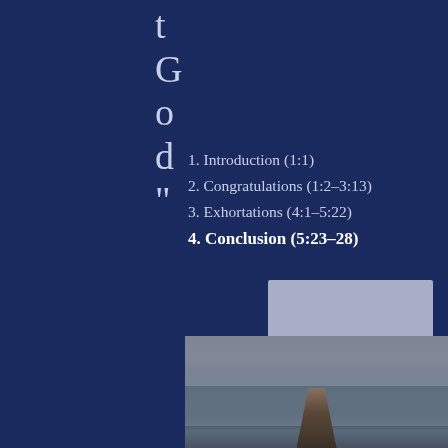t G o d "
1. Introduction (1:1)
2. Congratulations (1:2–3:13)
3. Exhortations (4:1–5:22)
4. Conclusion (5:23–28)
[Figure (other): Placeholder image rectangle with gray background]
Click HERE for Additional Study Notes
[Figure (photo): Seascape photo showing a pier extending into rough ocean water under a cloudy sky]